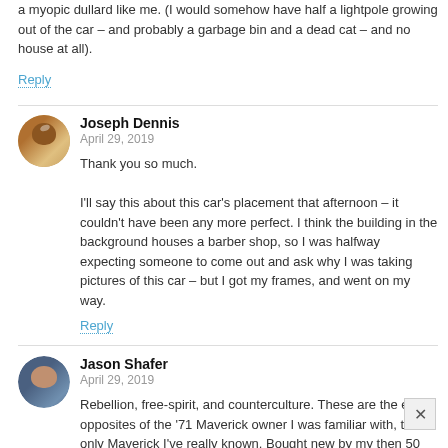a myopic dullard like me. (I would somehow have half a lightpole growing out of the car – and probably a garbage bin and a dead cat – and no house at all).
Reply
Joseph Dennis
April 29, 2019

Thank you so much.

I'll say this about this car's placement that afternoon – it couldn't have been any more perfect. I think the building in the background houses a barber shop, so I was halfway expecting someone to come out and ask why I was taking pictures of this car – but I got my frames, and went on my way.
Reply
Jason Shafer
April 29, 2019

Rebellion, free-spirit, and counterculture. These are the exact opposites of the '71 Maverick owner I was familiar with, the only Maverick I've really known. Bought new by my then 50 year-old grandmother, she's about as far from those three as can be.

But then thinking about it, at 90 she's developed a highly confrontational and independent streak and looking back she's simply being herself, only amplified. So maybe she does fit the mold.